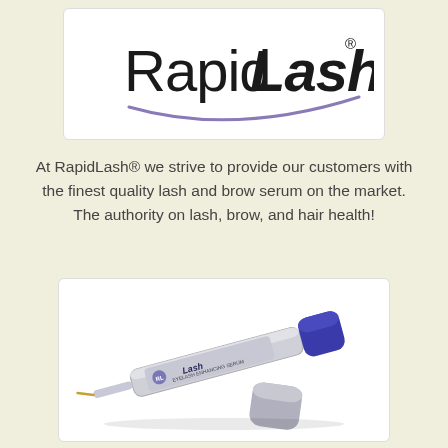[Figure (logo): RapidLash brand logo with italic/bold text and a purple swoosh underline]
At RapidLash® we strive to provide our customers with the finest quality lash and brow serum on the market. The authority on lash, brow, and hair health!
[Figure (photo): RapidLash eyelash enhancing serum product — a silver tube with blue cap, shown open with a small brush applicator extended to the left]